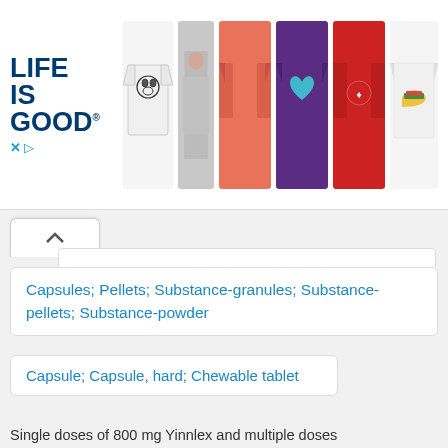[Figure (screenshot): Life is Good branded advertisement banner showing the logo and several t-shirts (white with dog, gray model wearing shirt, coral/orange long-sleeve, purple with heart, red with image, white with taco/graphic)]
Capsules; Pellets; Substance-granules; Substance-pellets; Substance-powder
Capsule; Capsule, hard; Chewable tablet
Single doses of 800 mg Yipplex and multiple doses